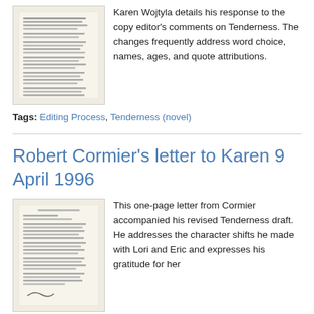[Figure (photo): Thumbnail image of a typewritten letter page, cream/off-white paper with dense typed text lines]
Karen Wojtyla details his response to the copy editor's comments on Tenderness. The changes frequently address word choice, names, ages, and quote attributions.
Tags: Editing Process, Tenderness (novel)
Robert Cormier's letter to Karen 9 April 1996
[Figure (photo): Thumbnail image of a one-page typewritten letter on cream/off-white paper with a handwritten signature at the bottom]
This one-page letter from Cormier accompanied his revised Tenderness draft. He addresses the character shifts he made with Lori and Eric and expresses his gratitude for her